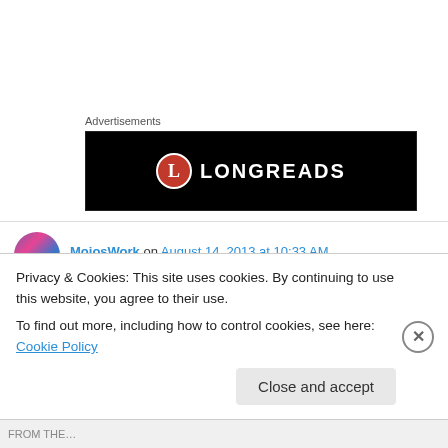Advertisements
[Figure (logo): Longreads advertisement banner — black background with red circle L logo and white LONGREADS text]
MojosWork on August 14, 2013 at 10:33 AM
LOVE Flash Gordon, and I love that Ted loves Flash Gordon. It’s the best we could have hoped for.
Privacy & Cookies: This site uses cookies. By continuing to use this website, you agree to their use.
To find out more, including how to control cookies, see here: Cookie Policy